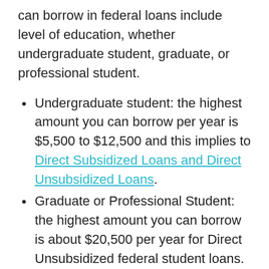can borrow in federal loans include level of education, whether undergraduate student, graduate, or professional student.
Undergraduate student: the highest amount you can borrow per year is $5,500 to $12,500 and this implies to Direct Subsidized Loans and Direct Unsubsidized Loans.
Graduate or Professional Student: the highest amount you can borrow is about $20,500 per year for Direct Unsubsidized federal student loans.
Parent of dependent undergraduate student: applicants are entitled to Direct Plus Loan as a remainder of your child collect costs. The amount varies based on the school the student